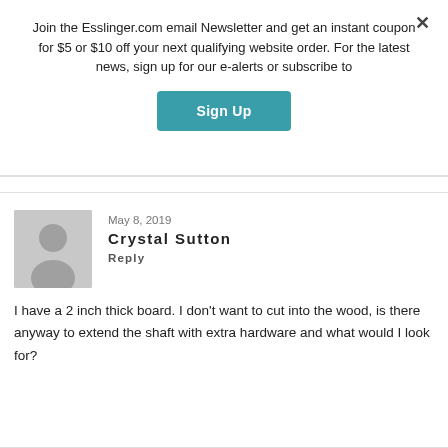Join the Esslinger.com email Newsletter and get an instant coupon for $5 or $10 off your next qualifying website order. For the latest news, sign up for our e-alerts or subscribe to
Sign Up
May 8, 2019
Crystal Sutton
Reply
I have a 2 inch thick board. I don't want to cut into the wood, is there anyway to extend the shaft with extra hardware and what would I look for?